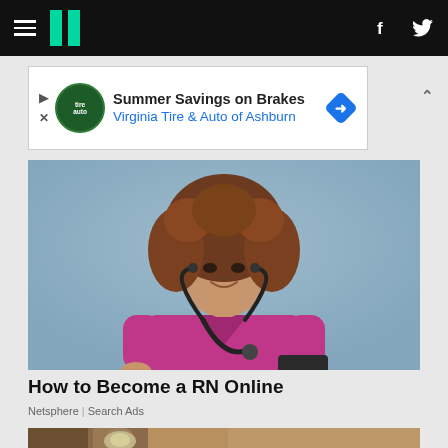HuffPost navigation header with hamburger menu, logo, Facebook and Twitter icons
[Figure (other): Advertisement banner: Summer Savings on Brakes - Virginia Tire & Auto of Ashburn]
[Figure (photo): Photo of a young woman with curly hair wearing pink medical scrubs and a stethoscope, holding a clipboard]
How to Become a RN Online
Netsphere | Search Ads
[Figure (photo): Photo of a door knob with foil wrapped around it]